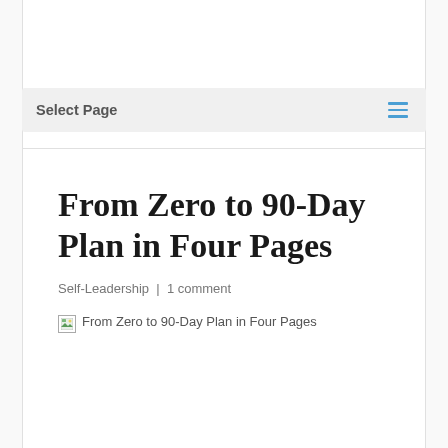Select Page
From Zero to 90-Day Plan in Four Pages
Self-Leadership | 1 comment
[Figure (photo): Broken image placeholder with alt text: From Zero to 90-Day Plan in Four Pages]